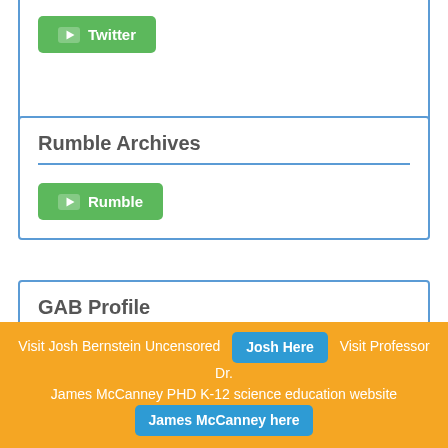[Figure (screenshot): Partial card with green Twitter button]
Rumble Archives
[Figure (screenshot): Green Rumble button]
GAB Profile
[Figure (screenshot): Green GAB button]
Visit Josh Bernstein Uncensored Josh Here Visit Professor Dr. James McCanney PHD K-12 science education website James McCanney here